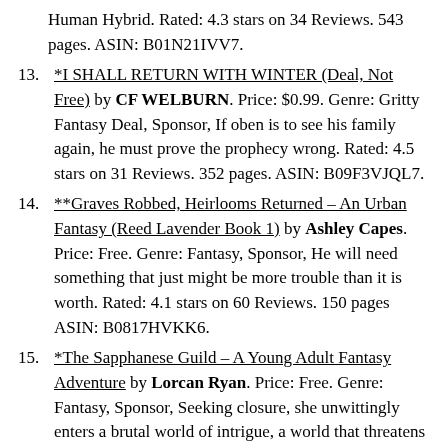Human Hybrid. Rated: 4.3 stars on 34 Reviews. 543 pages. ASIN: B01N21IVV7.
13. *I SHALL RETURN WITH WINTER (Deal, Not Free) by CF WELBURN. Price: $0.99. Genre: Gritty Fantasy Deal, Sponsor, If oben is to see his family again, he must prove the prophecy wrong. Rated: 4.5 stars on 31 Reviews. 352 pages. ASIN: B09F3VJQL7.
14. **Graves Robbed, Heirlooms Returned – An Urban Fantasy (Reed Lavender Book 1) by Ashley Capes. Price: Free. Genre: Fantasy, Sponsor, He will need something that just might be more trouble than it is worth. Rated: 4.1 stars on 60 Reviews. 150 pages ASIN: B0817HVKK6.
15. *The Sapphanese Guild – A Young Adult Fantasy Adventure by Lorcan Ryan. Price: Free. Genre: Fantasy, Sponsor, Seeking closure, she unwittingly enters a brutal world of intrigue, a world that threatens to destroy everything she